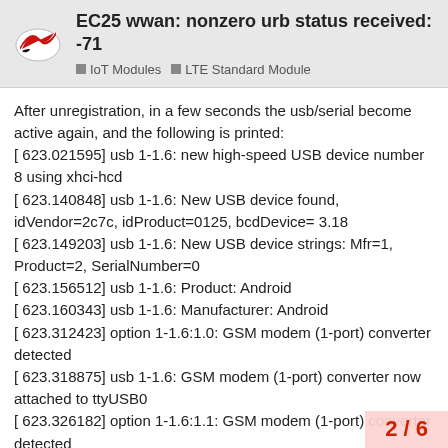EC25 wwan: nonzero urb status received: -71 | IoT Modules | LTE Standard Module
After unregistration, in a few seconds the usb/serial become active again, and the following is printed:
[ 623.021595] usb 1-1.6: new high-speed USB device number 8 using xhci-hcd
[ 623.140848] usb 1-1.6: New USB device found, idVendor=2c7c, idProduct=0125, bcdDevice= 3.18
[ 623.149203] usb 1-1.6: New USB device strings: Mfr=1, Product=2, SerialNumber=0
[ 623.156512] usb 1-1.6: Product: Android
[ 623.160343] usb 1-1.6: Manufacturer: Android
[ 623.312423] option 1-1.6:1.0: GSM modem (1-port) converter detected
[ 623.318875] usb 1-1.6: GSM modem (1-port) converter now attached to ttyUSB0
[ 623.326182] option 1-1.6:1.1: GSM modem (1-port) converter detected
[ 623.332626] usb 1-1.6: GSM modem (1-port) converter now attached to ttyUSB1
[ 623.339945] option 1-1.6:1.2: GSM modem detected
2 / 6